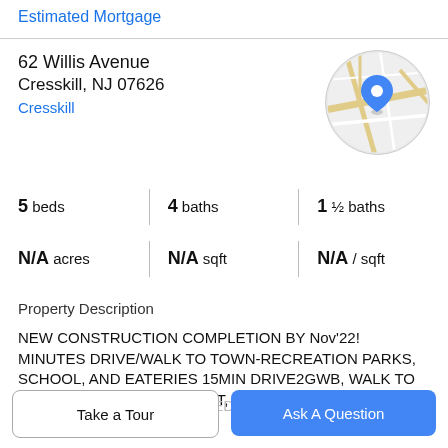Estimated Mortgage
62 Willis Avenue
Cresskill, NJ 07626
Cresskill
[Figure (map): Circular map thumbnail showing a location pin over a street map of Cresskill, NJ]
5 beds | 4 baths | 1 ½ baths
N/A acres | N/A sqft | N/A / sqft
Property Description
NEW CONSTRUCTION COMPLETION BY Nov'22! MINUTES DRIVE/WALK TO TOWN-RECREATION PARKS, SCHOOL, AND EATERIES 15MIN DRIVE2GWB, WALK TO NYC BUS. OVER 4000+ SQFT, LOCATED ON
A BEAUTIFUL AND SECLUDED STREET, STEPS FROM
Take a Tour
Ask A Question